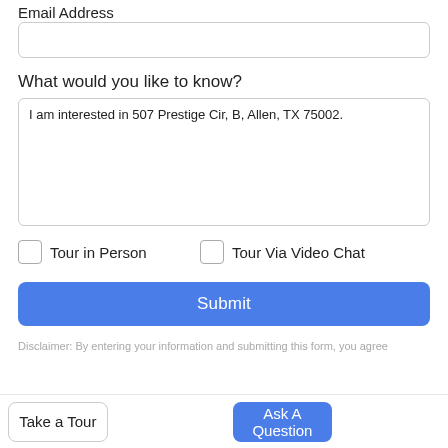Email Address
What would you like to know?
I am interested in 507 Prestige Cir, B, Allen, TX 75002.
Tour in Person
Tour Via Video Chat
Submit
Disclaimer: By entering your information and submitting this form, you agree...
Take a Tour
Ask A Question